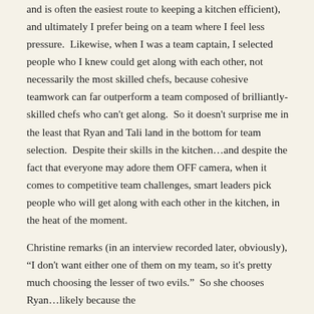and is often the easiest route to keeping a kitchen efficient), and ultimately I prefer being on a team where I feel less pressure.  Likewise, when I was a team captain, I selected people who I knew could get along with each other, not necessarily the most skilled chefs, because cohesive teamwork can far outperform a team composed of brilliantly-skilled chefs who can't get along.  So it doesn't surprise me in the least that Ryan and Tali land in the bottom for team selection.  Despite their skills in the kitchen…and despite the fact that everyone may adore them OFF camera, when it comes to competitive team challenges, smart leaders pick people who will get along with each other in the kitchen, in the heat of the moment.
Christine remarks (in an interview recorded later, obviously), "I don't want either one of them on my team, so it's pretty much choosing the lesser of two evils."  So she chooses Ryan…likely because the